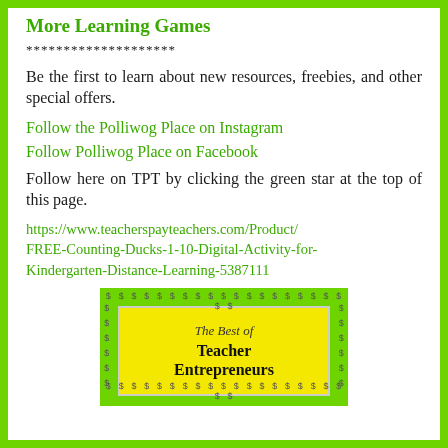More Learning Games
********************
Be the first to learn about new resources, freebies, and other special offers.
Follow the Polliwog Place on Instagram
Follow Polliwog Place on Facebook
Follow here on TPT by clicking the green star at the top of this page.
https://www.teacherspayteachers.com/Product/FREE-Counting-Ducks-1-10-Digital-Activity-for-Kindergarten-Distance-Learning-5387111
[Figure (illustration): Book cover image with green border and dollar signs, titled 'The Best of Teacher Entrepreneurs' on a yellow background]